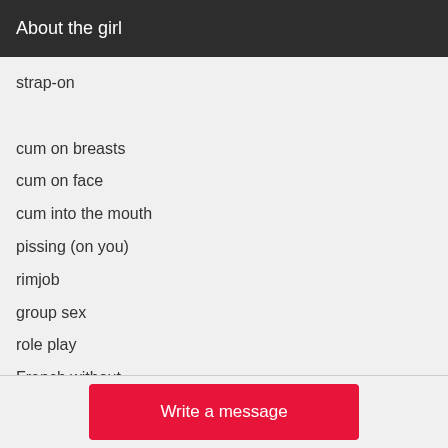About the girl
strap-on
cum on breasts
cum on face
cum into the mouth
pissing (on you)
rimjob
group sex
role play
French without
services for married couples
deepthroat
Write a message